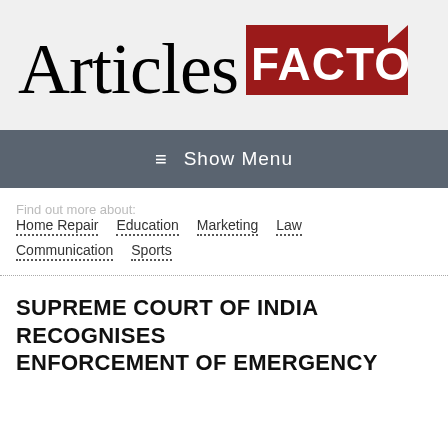[Figure (logo): Articles Factory logo with serif 'Articles' text and red 'FACTORY' box with folded corner]
≡ Show Menu
Find out more about: Home Repair  Education  Marketing  Law  Communication  Sports
SUPREME COURT OF INDIA RECOGNISES ENFORCEMENT OF EMERGENCY